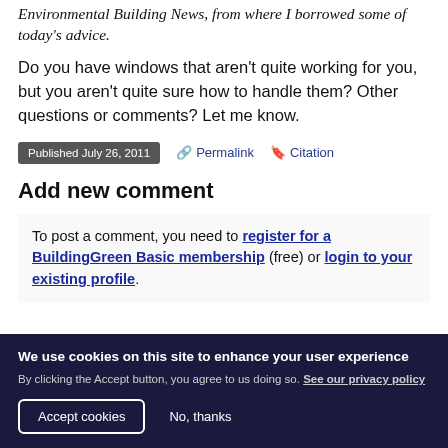Environmental Building News, from where I borrowed some of today's advice.
Do you have windows that aren't quite working for you, but you aren't quite sure how to handle them? Other questions or comments? Let me know.
Published July 26, 2011  🔗 Permalink  🔖 Citation
Add new comment
To post a comment, you need to register for a BuildingGreen Basic membership (free) or login to your existing profile.
We use cookies on this site to enhance your user experience
By clicking the Accept button, you agree to us doing so. See our privacy policy
Accept cookies   No, thanks